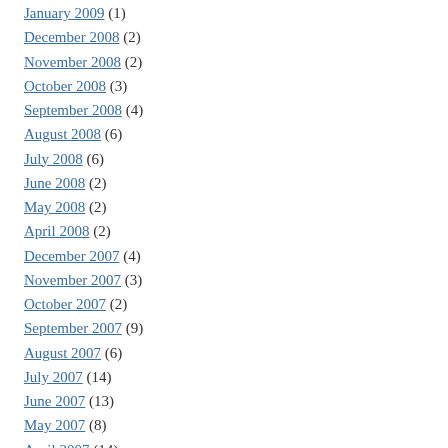January 2009 (1)
December 2008 (2)
November 2008 (2)
October 2008 (3)
September 2008 (4)
August 2008 (6)
July 2008 (6)
June 2008 (2)
May 2008 (2)
April 2008 (2)
December 2007 (4)
November 2007 (3)
October 2007 (2)
September 2007 (9)
August 2007 (6)
July 2007 (14)
June 2007 (13)
May 2007 (8)
April 2007 (14)